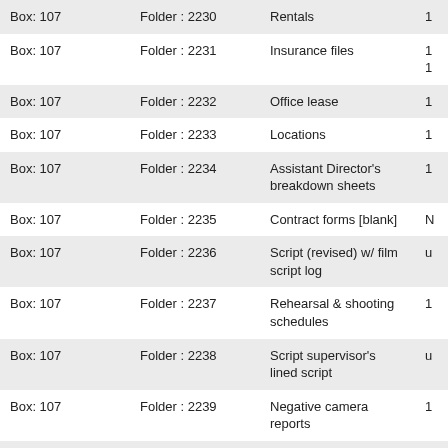| Box | Folder | Description |  |
| --- | --- | --- | --- |
| Box: 107 | Folder : 2230 | Rentals | 1 |
| Box: 107 | Folder : 2231 | Insurance files | 1
1 |
| Box: 107 | Folder : 2232 | Office lease | 1 |
| Box: 107 | Folder : 2233 | Locations | 1 |
| Box: 107 | Folder : 2234 | Assistant Director's breakdown sheets | 1 |
| Box: 107 | Folder : 2235 | Contract forms [blank] | N |
| Box: 107 | Folder : 2236 | Script (revised) w/ film script log | u |
| Box: 107 | Folder : 2237 | Rehearsal & shooting schedules | 1 |
| Box: 107 | Folder : 2238 | Script supervisor's lined script | u |
| Box: 107 | Folder : 2239 | Negative camera reports | 1 |
| Box: 107 | Folder : 2240 | Permits | 1 |
| Box: 107 | Folder : 2241 | Daily production reports | 1 |
| Box: 107 | Folder : 2242 | Memos | 1 |
| Box: 107 | Folder : 2243 | Script Supervisor's daily | 1 |